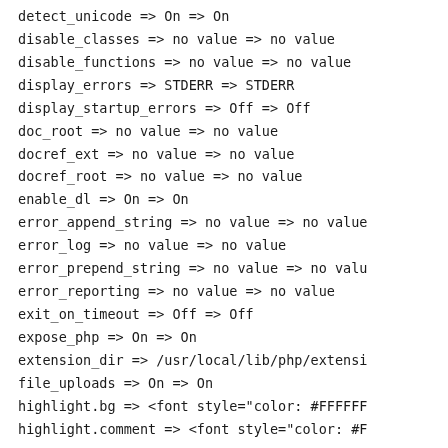detect_unicode => On => On
disable_classes => no value => no value
disable_functions => no value => no value
display_errors => STDERR => STDERR
display_startup_errors => Off => Off
doc_root => no value => no value
docref_ext => no value => no value
docref_root => no value => no value
enable_dl => On => On
error_append_string => no value => no value
error_log => no value => no value
error_prepend_string => no value => no valu
error_reporting => no value => no value
exit_on_timeout => Off => Off
expose_php => On => On
extension_dir => /usr/local/lib/php/extensi
file_uploads => On => On
highlight.bg => <font style="color: #FFFFFF
highlight.comment => <font style="color: #F